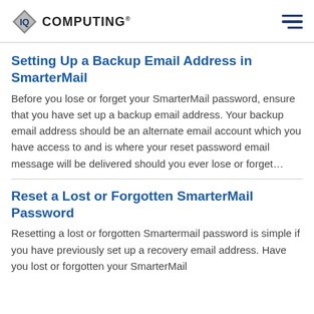IQ COMPUTING
Setting Up a Backup Email Address in SmarterMail
Before you lose or forget your SmarterMail password, ensure that you have set up a backup email address. Your backup email address should be an alternate email account which you have access to and is where your reset password email message will be delivered should you ever lose or forget…
Reset a Lost or Forgotten SmarterMail Password
Resetting a lost or forgotten Smartermail password is simple if you have previously set up a recovery email address. Have you lost or forgotten your SmarterMail